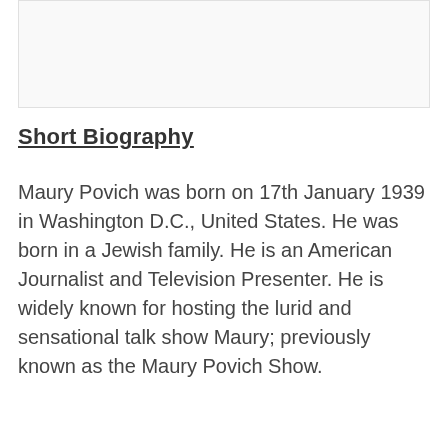[Figure (other): Blank image placeholder box at top of page]
Short Biography
Maury Povich was born on 17th January 1939 in Washington D.C., United States. He was born in a Jewish family. He is an American Journalist and Television Presenter. He is widely known for hosting the lurid and sensational talk show Maury; previously known as the Maury Povich Show.